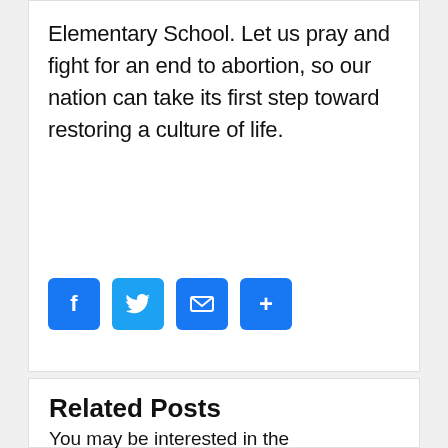Elementary School. Let us pray and fight for an end to abortion, so our nation can take its first step toward restoring a culture of life.
[Figure (other): Social sharing buttons: Facebook (blue), Twitter (blue), Email (blue), Share/More (blue)]
Related Posts
You may be interested in the